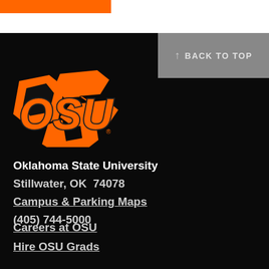[Figure (logo): Oklahoma State University OSU logo in orange on black background]
↑ BACK TO TOP
Oklahoma State University
Stillwater, OK  74078
Campus & Parking Maps
(405) 744-5000
Careers at OSU
Hire OSU Grads